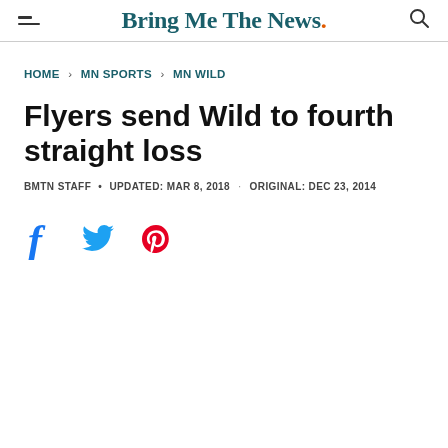Bring Me The News.
HOME > MN SPORTS > MN WILD
Flyers send Wild to fourth straight loss
BMTN STAFF • UPDATED: MAR 8, 2018 · ORIGINAL: DEC 23, 2014
[Figure (other): Social sharing icons: Facebook, Twitter, Pinterest]